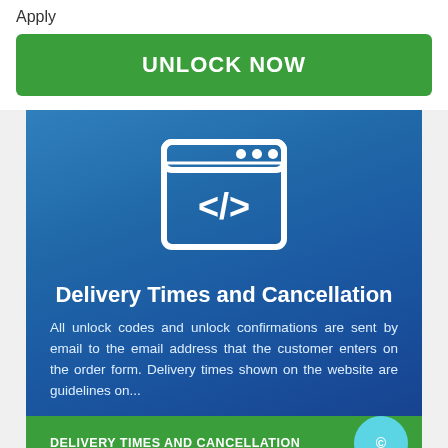Apply
UNLOCK NOW
[Figure (illustration): Code browser window icon with </> HTML tag symbol in white on blue background]
Delivery Times and Cancellation
All unlock codes and unlock confirmations are sent by email to the email address that the customer enters on the order form. Delivery times shown on the website are guidelines on...
DELIVERY TIMES AND CANCELLATION